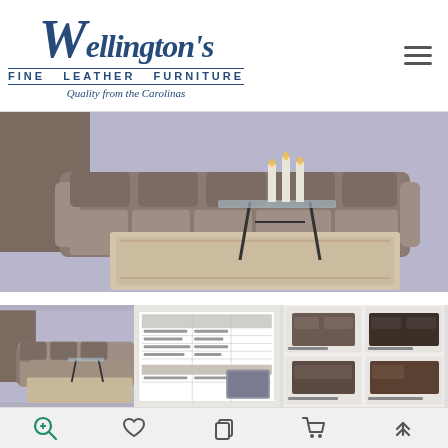[Figure (logo): Wellington's Fine Leather Furniture logo with script W, uppercase text 'FINE LEATHER FURNITURE', tagline 'Quality from the Carolinas']
[Figure (photo): Large hero photo of a taupe leather sectional sofa with ornate area rug and glass/iron coffee table with white candles]
[Figure (photo): Thumbnail gallery row showing three thumbnail images: left is the same sectional sofa photo, middle is a product spec sheet/brochure, right shows various leather sofa product photos]
[Figure (screenshot): Bottom navigation bar with icons: search/zoom, heart/wishlist, copy/files, shopping cart, and up arrow]